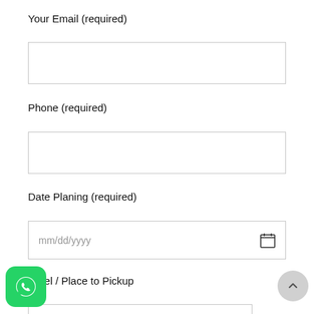Your Email (required)
[Figure (screenshot): Empty text input field for email]
Phone (required)
[Figure (screenshot): Empty text input field for phone]
Date Planing (required)
[Figure (screenshot): Date input field showing mm/dd/yyyy placeholder with calendar icon]
Hotel / Place to Pickup
[Figure (screenshot): WhatsApp button (green rounded square with WhatsApp logo) in bottom left corner]
[Figure (screenshot): Scroll-to-top button (grey circle with up chevron) in bottom right corner]